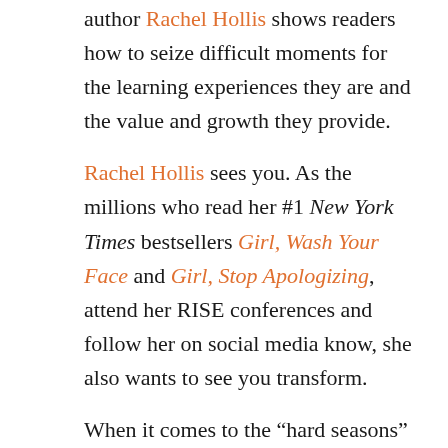author Rachel Hollis shows readers how to seize difficult moments for the learning experiences they are and the value and growth they provide.
Rachel Hollis sees you. As the millions who read her #1 New York Times bestsellers Girl, Wash Your Face and Girl, Stop Apologizing, attend her RISE conferences and follow her on social media know, she also wants to see you transform.
When it comes to the “hard seasons” of life—the death of a loved one, divorce, loss of a job—transformation seems impossible